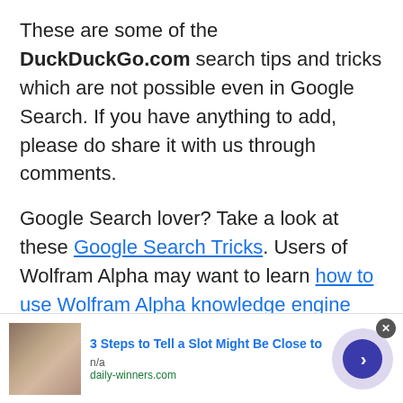These are some of the DuckDuckGo.com search tips and tricks which are not possible even in Google Search. If you have anything to add, please do share it with us through comments.
Google Search lover? Take a look at these Google Search Tricks. Users of Wolfram Alpha may want to learn how to use Wolfram Alpha knowledge engine effectively.
[Figure (other): Advertisement banner: image of person, title '3 Steps to Tell a Slot Might Be Close to', source 'daily-winners.com', with navigation arrow button]